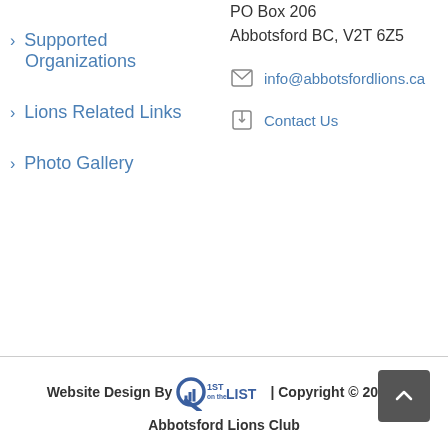PO Box 206
Abbotsford BC, V2T 6Z5
> Supported Organizations
info@abbotsfordlions.ca
Contact Us
> Lions Related Links
> Photo Gallery
Website Design By [1st on the LIST logo] | Copyright © 2021 | Abbotsford Lions Club